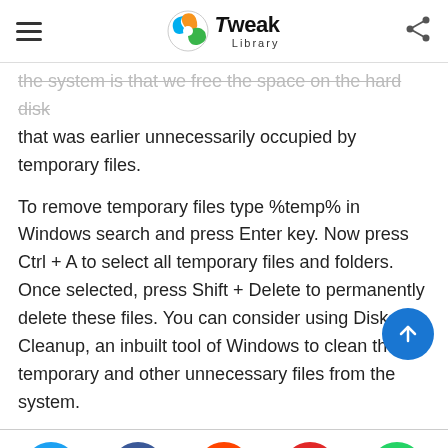Tweak Library
the system is that we free the space on the hard disk that was earlier unnecessarily occupied by temporary files.
To remove temporary files type %temp% in Windows search and press Enter key. Now press Ctrl + A to select all temporary files and folders. Once selected, press Shift + Delete to permanently delete these files. You can consider using Disk Cleanup, an inbuilt tool of Windows to clean the temporary and other unnecessary files from the system.
[Figure (infographic): Social sharing buttons: Twitter (blue), Facebook (dark blue), Reddit (orange-red), Flipboard (red), WhatsApp (green)]